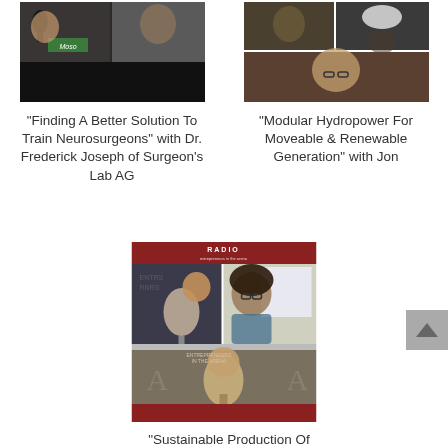[Figure (photo): Podcast thumbnail showing two men in a video call, one near a microphone with a 'Moso' sign visible]
"Finding A Better Solution To Train Neurosurgeons" with Dr. Frederick Joseph of Surgeon's Lab AG
[Figure (photo): Podcast thumbnail showing multiple people in a video call grid]
"Modular Hydropower For Moveable & Renewable Generation" with Jon
[Figure (photo): Radio Entrepreneurs podcast thumbnail showing three people including a woman with glasses and a man at a microphone]
"Sustainable Production Of Nutrients For Pets & People" with Deena Sisitsky of